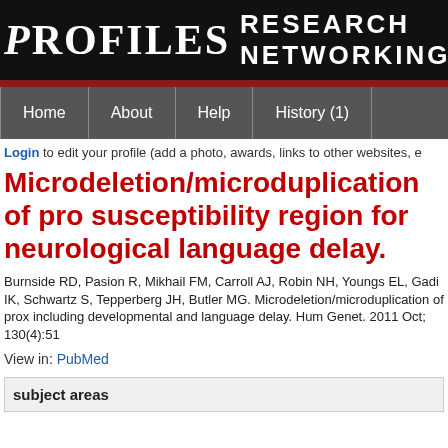PROFILES RESEARCH NETWORKING
Login to edit your profile (add a photo, awards, links to other websites, e
Microdeletion/microduplication of pro susceptibility region for neurological language delay.
Burnside RD, Pasion R, Mikhail FM, Carroll AJ, Robin NH, Youngs EL, Gadi IK, Schwartz S, Tepperberg JH, Butler MG. Microdeletion/microduplication of prox including developmental and language delay. Hum Genet. 2011 Oct; 130(4):51
View in: PubMed
subject areas